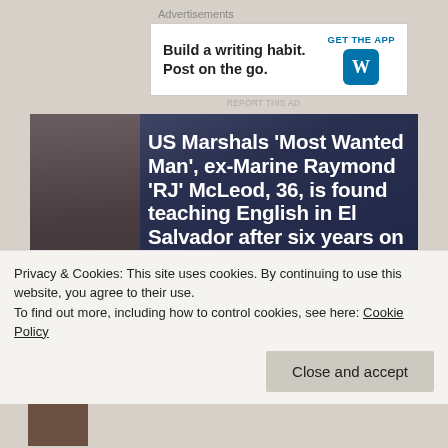Advertisements
[Figure (screenshot): WordPress advertisement banner: 'Build a writing habit. Post on the go.' with GET THE APP and WordPress logo]
REPORT THIS AD
[Figure (photo): News article headline image with dark blue overlay showing headline text: 'US Marshals ‘Most Wanted Man’, ex-Marine Raymond ‘RJ’ McLeod, 36, is found teaching English in El Salvador after six years on the run for the 2016 murder of his girlfriend in San...' with person visible on left side]
Privacy & Cookies: This site uses cookies. By continuing to use this website, you agree to their use.
To find out more, including how to control cookies, see here: Cookie Policy
Close and accept